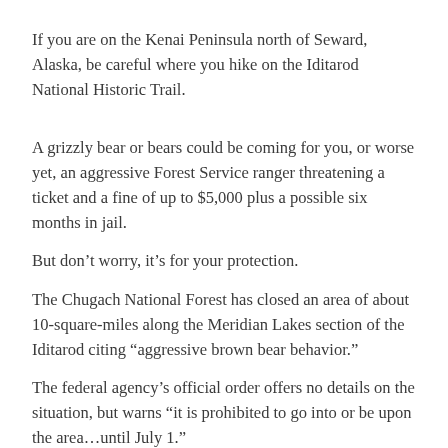If you are on the Kenai Peninsula north of Seward, Alaska, be careful where you hike on the Iditarod National Historic Trail.
A grizzly bear or bears could be coming for you, or worse yet, an aggressive Forest Service ranger threatening a ticket and a fine of up to $5,000 plus a possible six months in jail.
But don’t worry, it’s for your protection.
The Chugach National Forest has closed an area of about 10-square-miles along the Meridian Lakes section of the Iditarod citing “aggressive brown bear behavior.”
The federal agency’s official order offers no details on the situation, but warns “it is prohibited to go into or be upon the area…until July 1.”
A post on the agency’s Facebook page on June 15 warned hikers to “use caution when around (the) Meridian Lakes (Grayling Lake) Trail area of the forest. An aggressive brown